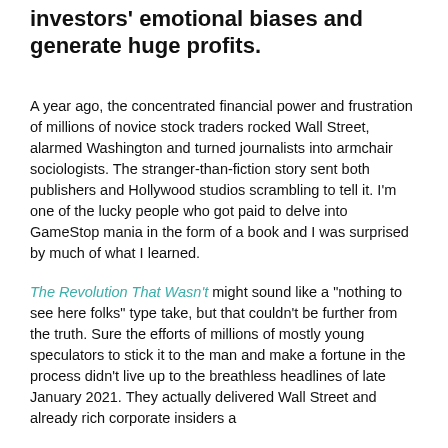investors' emotional biases and generate huge profits.
A year ago, the concentrated financial power and frustration of millions of novice stock traders rocked Wall Street, alarmed Washington and turned journalists into armchair sociologists. The stranger-than-fiction story sent both publishers and Hollywood studios scrambling to tell it. I'm one of the lucky people who got paid to delve into GameStop mania in the form of a book and I was surprised by much of what I learned.
The Revolution That Wasn't might sound like a "nothing to see here folks" type take, but that couldn't be further from the truth. Sure the efforts of millions of mostly young speculators to stick it to the man and make a fortune in the process didn't live up to the breathless headlines of late January 2021. They actually delivered Wall Street and already rich corporate insiders a